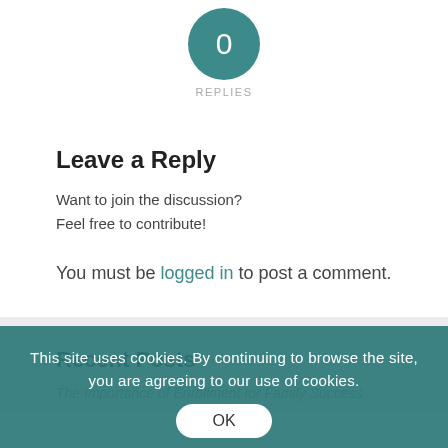[Figure (infographic): Teal circle with white '0' in the center, representing reply count]
REPLIES
Leave a Reply
Want to join the discussion?
Feel free to contribute!
You must be logged in to post a comment.
Recent Posts
The Importance of Enrollment for Family Success
This site uses cookies. By continuing to browse the site, you are agreeing to our use of cookies.